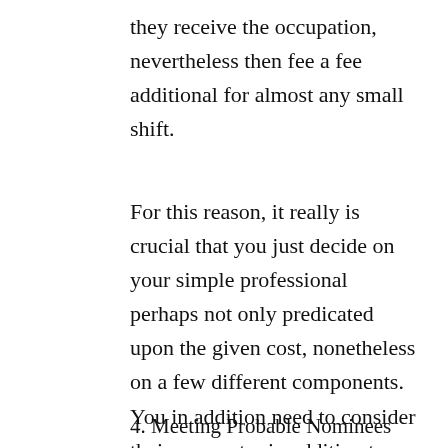they receive the occupation, nevertheless then fee a fee additional for almost any small shift.
For this reason, it really is crucial that you just decide on your simple professional perhaps not only predicated upon the given cost, nonetheless on a few different components. You in addition need to consider their encounter in addition to your own confidence and also additionally convenience level with this specific personal or corporation.
4. Meeting Probable Nominees